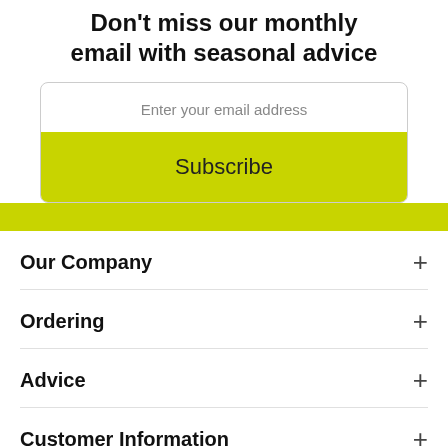Don't miss our monthly email with seasonal advice
Enter your email address
Subscribe
Our Company
Ordering
Advice
Customer Information